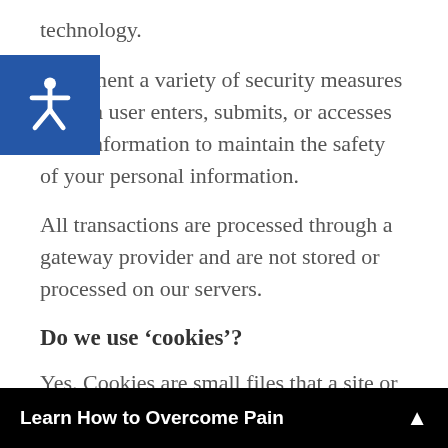technology.
implement a variety of security measures when a user enters, submits, or accesses their information to maintain the safety of your personal information.
All transactions are processed through a gateway provider and are not stored or processed on our servers.
Do we use ‘cookies’?
Yes. Cookies are small files that a site or its s...
Learn How to Overcome Pain